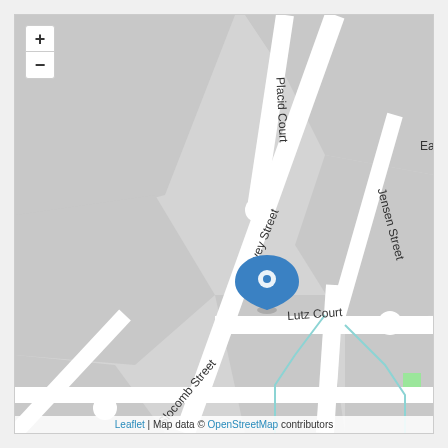[Figure (map): OpenStreetMap street map showing an intersection area with streets labeled: Placid Court, Harvey Street, Lutz Court, Jensen Street, Slocomb Street, and Eadi (partially visible). A blue location pin marker is placed near the center of the map at the intersection of Harvey Street and Lutz Court. Zoom in (+) and zoom out (-) controls are visible in the upper left corner. Attribution reads: Leaflet | Map data © OpenStreetMap contributors.]